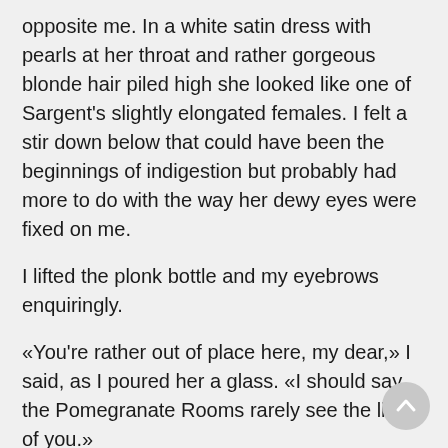opposite me. In a white satin dress with pearls at her throat and rather gorgeous blonde hair piled high she looked like one of Sargent's slightly elongated females. I felt a stir down below that could have been the beginnings of indigestion but probably had more to do with the way her dewy eyes were fixed on me.
I lifted the plonk bottle and my eyebrows enquiringly.
«You're rather out of place here, my dear,» I said, as I poured her a glass. «I should say the Pomegranate Rooms rarely see the likes of you.»
She inclined her head slightly. «Got any fags?»